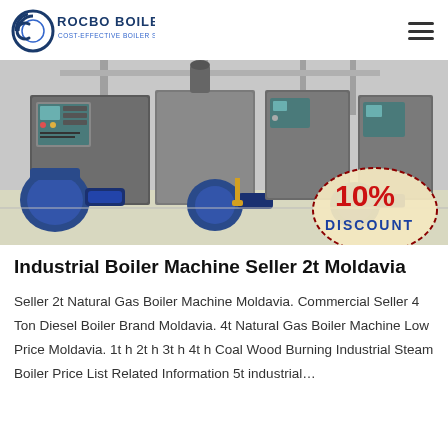ROCBO BOILER – COST-EFFECTIVE BOILER SUPPLIER
[Figure (photo): Industrial boiler machines installed in a facility with blue burner components. A red stamp overlay reads '10% DISCOUNT'.]
Industrial Boiler Machine Seller 2t Moldavia
Seller 2t Natural Gas Boiler Machine Moldavia. Commercial Seller 4 Ton Diesel Boiler Brand Moldavia. 4t Natural Gas Boiler Machine Low Price Moldavia. 1t h 2t h 3t h 4t h Coal Wood Burning Industrial Steam Boiler Price List Related Information 5t industrial…